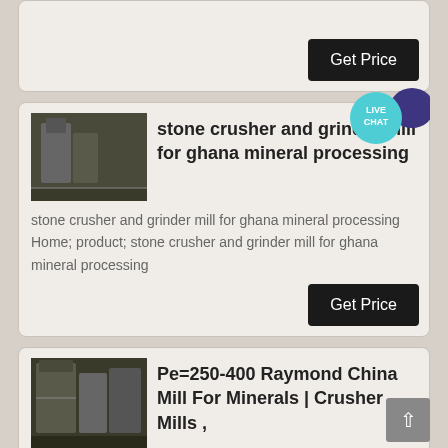[Figure (screenshot): Partial card at top with Get Price button]
[Figure (photo): Industrial stone crusher / grinder mill machinery photo]
stone crusher and grinder mill for ghana mineral processing
stone crusher and grinder mill for ghana mineral processing Home; product; stone crusher and grinder mill for ghana mineral processing
[Figure (photo): Industrial crusher / Raymond mill machinery photo]
Pe=250-400 Raymond China Mill For Minerals | Crusher Mills ,
Raymond Mill,Mineral Grinding Mills,Roller Grinder , Raymond grinder mill in India for crushing,Raymond miller